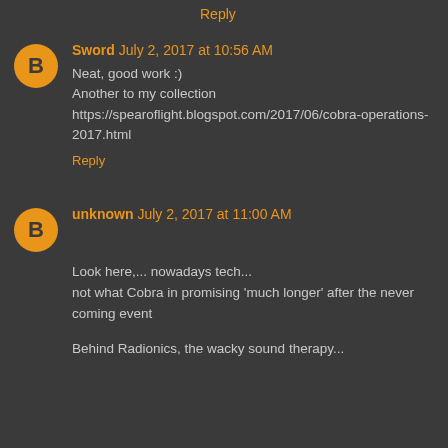Reply
Sword July 2, 2017 at 10:56 AM
Neat, good work :)
Another to my collection
https://spearoflight.blogspot.com/2017/06/cobra-operations-2017.html
Reply
unknown July 2, 2017 at 11:00 AM
Look here,... nowadays tech...
not what Cobra in promising 'much longer' after the never coming event
Behind Radionics, the wacky sound therapy...